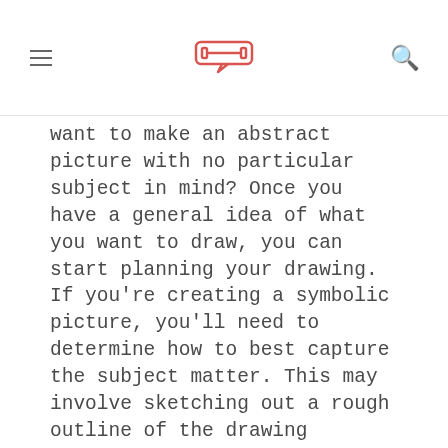[logo icon]
want to make an abstract picture with no particular subject in mind? Once you have a general idea of what you want to draw, you can start planning your drawing. If you're creating a symbolic picture, you'll need to determine how to best capture the subject matter. This may involve sketching out a rough outline of the drawing beforehand. If you're creating an abstract picture, you may want to start by playing around with different